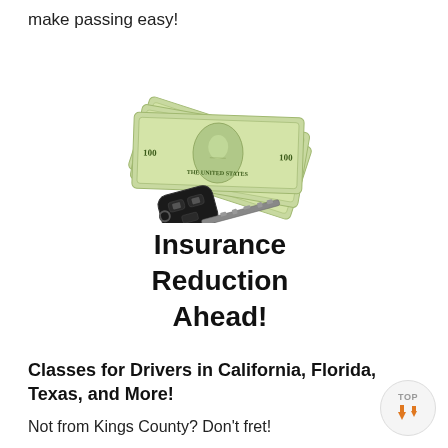make passing easy!
[Figure (illustration): Car key with a flip blade resting on top of fanned-out US dollar bills, with a sticker-style badge below reading 'Insurance Reduction Ahead!' in bold black text with white border]
Classes for Drivers in California, Florida, Texas, and More!
Not from Kings County? Don't fret!